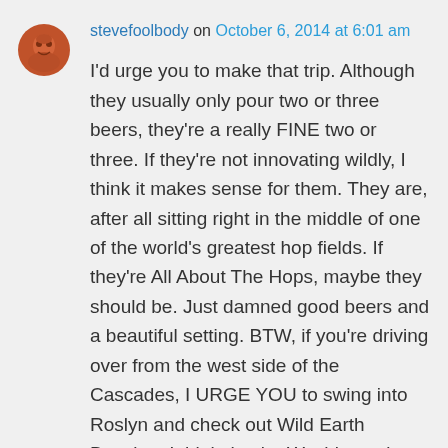stevefoolbody on October 6, 2014 at 6:01 am
I'd urge you to make that trip. Although they usually only pour two or three beers, they're a really FINE two or three. If they're not innovating wildly, I think it makes sense for them. They are, after all sitting right in the middle of one of the world's greatest hop fields. If they're All About The Hops, maybe they should be. Just damned good beers and a beautiful setting. BTW, if you're driving over from the west side of the Cascades, I URGE YOU to swing into Roslyn and check out Wild Earth Brewing. I think they're Washington's next Game